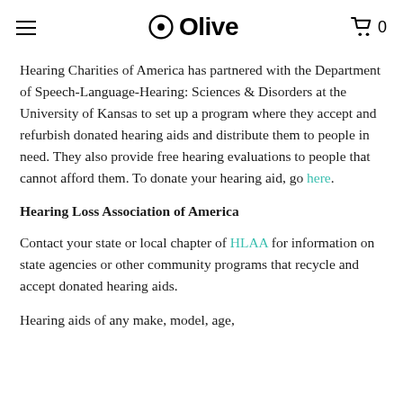Olive
Hearing Charities of America has partnered with the Department of Speech-Language-Hearing: Sciences & Disorders at the University of Kansas to set up a program where they accept and refurbish donated hearing aids and distribute them to people in need. They also provide free hearing evaluations to people that cannot afford them. To donate your hearing aid, go here.
Hearing Loss Association of America
Contact your state or local chapter of HLAA for information on state agencies or other community programs that recycle and accept donated hearing aids.
Hearing aids of any make, model, age,